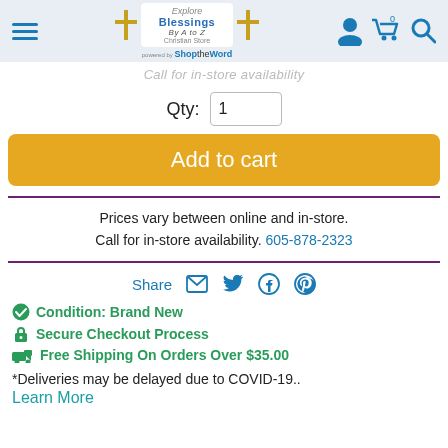Blessings By A to Z Christian Store — powered by ShopTheWord
Call for in-store availability
Qty: 1
Add to cart
Prices vary between online and in-store. Call for in-store availability. 605-878-2323
Share
Condition: Brand New
Secure Checkout Process
Free Shipping On Orders Over $35.00
*Deliveries may be delayed due to COVID-19..
Learn More